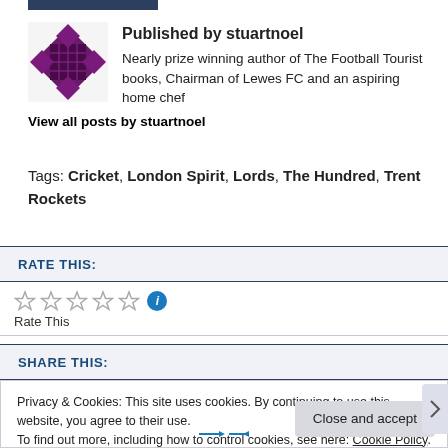[Figure (logo): Purple/maroon diamond pattern avatar for stuartnoel]
Published by stuartnoel Nearly prize winning author of The Football Tourist books, Chairman of Lewes FC and an aspiring home chef View all posts by stuartnoel
Tags: Cricket, London Spirit, Lords, The Hundred, Trent Rockets
RATE THIS:
[Figure (other): Five empty star rating widgets with blue info icon, followed by 'Rate This' text]
SHARE THIS:
Privacy & Cookies: This site uses cookies. By continuing to use this website, you agree to their use. To find out more, including how to control cookies, see here: Cookie Policy